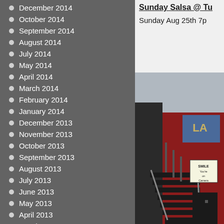December 2014
October 2014
September 2014
August 2014
July 2014
May 2014
April 2014
March 2014
February 2014
January 2014
December 2013
November 2013
October 2013
September 2013
August 2013
July 2013
June 2013
May 2013
April 2013
March 2013
February 2013
Sunday Salsa @ Tu
Sunday Aug 25th 7p
[Figure (photo): Photo of a venue entrance with stairs, red walls, and a SMILE You're on Camera sign. Partial text LA visible on a sign.]